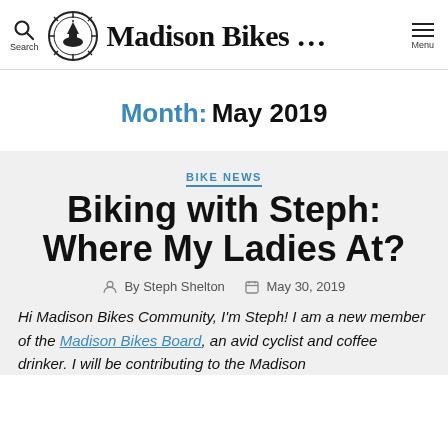Madison Bikes … Search Menu
Month: May 2019
BIKE NEWS
Biking with Steph: Where My Ladies At?
By Steph Shelton  May 30, 2019
Hi Madison Bikes Community, I'm Steph! I am a new member of the Madison Bikes Board, an avid cyclist and coffee drinker. I will be contributing to the Madison